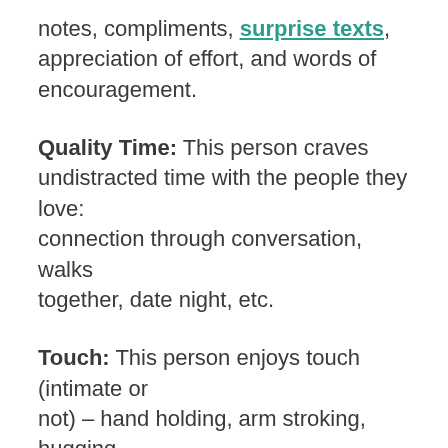notes, compliments, surprise texts, appreciation of effort, and words of encouragement.
Quality Time: This person craves undistracted time with the people they love: connection through conversation, walks together, date night, etc.
Touch: This person enjoys touch (intimate or not) – hand holding, arm stroking, hugging, kissing, intimacy, cuddling.
Acts of Service: This person appreciates